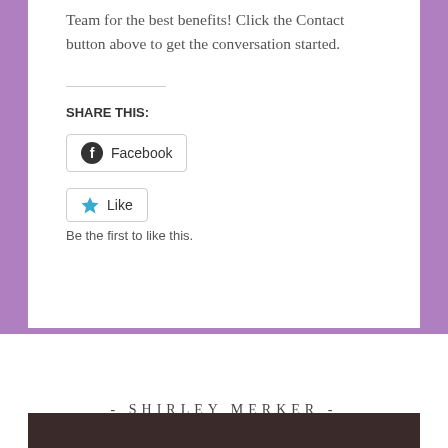Team for the best benefits! Click the Contact button above to get the conversation started.
SHARE THIS:
[Figure (other): Facebook share button with Facebook icon]
[Figure (other): Like button with star icon]
Be the first to like this.
- SHIRLEY MERKER -
[Figure (photo): Photo of Shirley Merker, partially visible at bottom of page]